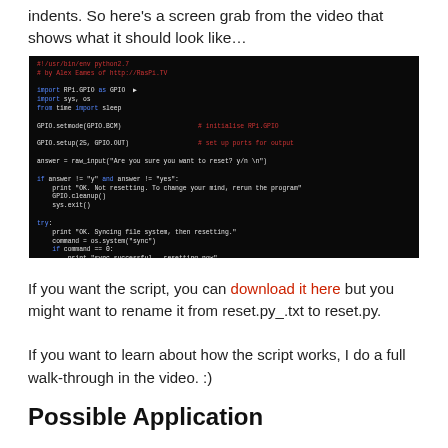indents. So here's a screen grab from the video that shows what it should look like…
[Figure (screenshot): A terminal/code editor screenshot showing a Python script on a dark background. The script imports RPi.GPIO, sys, os, and time, sets up GPIO for output, prompts the user for confirmation, and handles syncing the file system then resetting via GPIO output.]
If you want the script, you can download it here but you might want to rename it from reset.py_.txt to reset.py.
If you want to learn about how the script works, I do a full walk-through in the video. :)
Possible Application